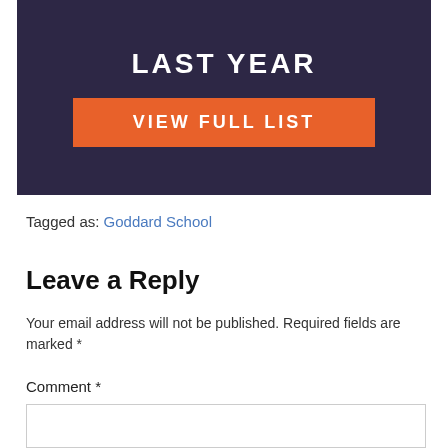[Figure (other): Dark navy banner with text 'LAST YEAR' at top (partially cut off) and an orange button labeled 'VIEW FULL LIST']
Tagged as: Goddard School
Leave a Reply
Your email address will not be published. Required fields are marked *
Comment *